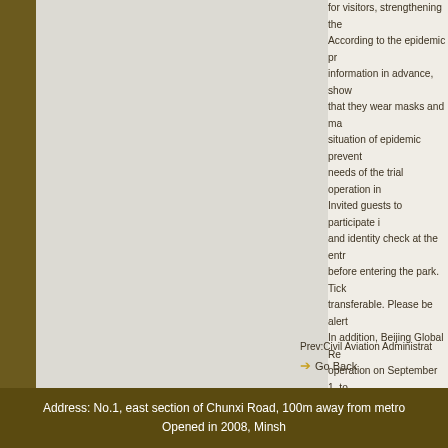for visitors, strengthening the According to the epidemic prevention information in advance, show that they wear masks and ma situation of epidemic prevent needs of the trial operation i Invited guests to participate and identity check at the entr before entering the park. Tick transferable. Please be alert In addition, Beijing Global Re operation on September 1, to dynamic and news of Beijing universal resort's website (ht
Prev:Civil Aviation Administrat
→ Go Back
Address: No.1, east section of Chunxi Road, 100m away from metro Opened in 2008, Minsh